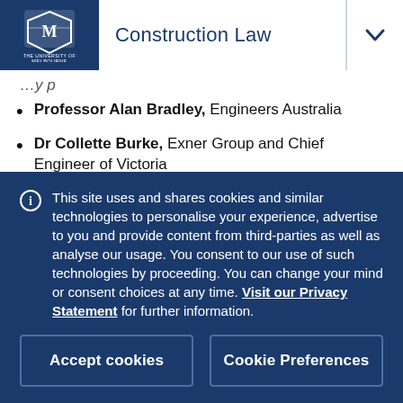Construction Law
Professor Alan Bradley, Engineers Australia
Dr Collette Burke, Exner Group and Chief Engineer of Victoria
The Hon Justice John Digby, Supreme Court of Victoria
Professor Colin Duffield, Melbourne School of
This site uses and shares cookies and similar technologies to personalise your experience, advertise to you and provide content from third-parties as well as analyse our usage. You consent to our use of such technologies by proceeding. You can change your mind or consent choices at any time. Visit our Privacy Statement for further information.
Accept cookies | Cookie Preferences